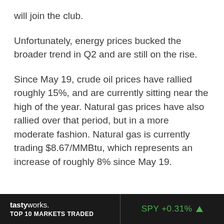will join the club.
Unfortunately, energy prices bucked the broader trend in Q2 and are still on the rise.
Since May 19, crude oil prices have rallied roughly 15%, and are currently sitting near the high of the year. Natural gas prices have also rallied over that period, but in a more moderate fashion. Natural gas is currently trading $8.67/MMBtu, which represents an increase of roughly 8% since May 19.
tastyworks. TOP 10 MARKETS TRADED | SPY +0.31%